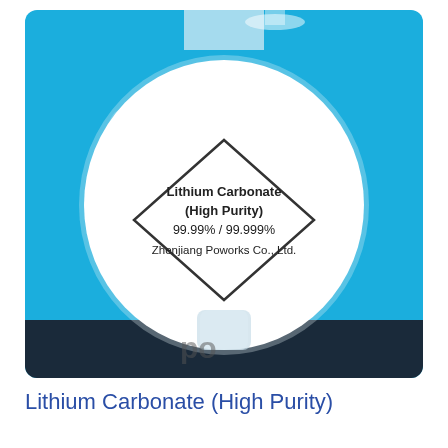[Figure (photo): A glass vessel filled with white lithium carbonate powder, photographed against a bright blue background. A diamond-shaped label on the glass reads: Lithium Carbonate (High Purity) 99.99% / 99.999% Zhenjiang Poworks Co., Ltd.]
Lithium Carbonate (High Purity)